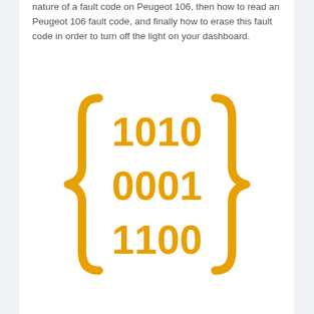nature of a fault code on Peugeot 106, then how to read an Peugeot 106 fault code, and finally how to erase this fault code in order to turn off the light on your dashboard.
[Figure (illustration): Orange curly braces containing three rows of binary digits: 1010, 0001, 1100]